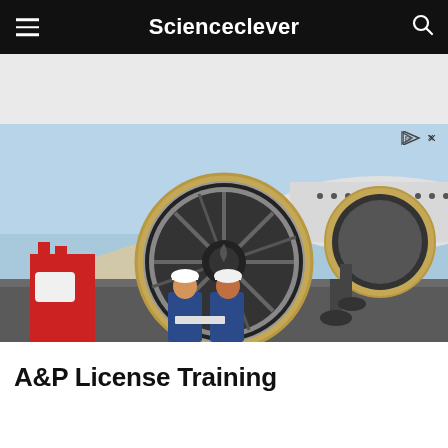Scienceclever
[Figure (photo): Two aircraft maintenance technicians wearing white hard hats and blue coveralls standing in front of a large jet engine turbine on an airplane, with ground support equipment visible in the background]
A&P License Training